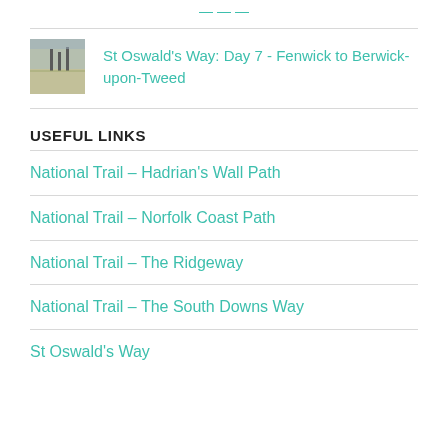St Oswald's Way: Day 7 - Fenwick to Berwick-upon-Tweed
USEFUL LINKS
National Trail – Hadrian's Wall Path
National Trail – Norfolk Coast Path
National Trail – The Ridgeway
National Trail – The South Downs Way
St Oswald's Way